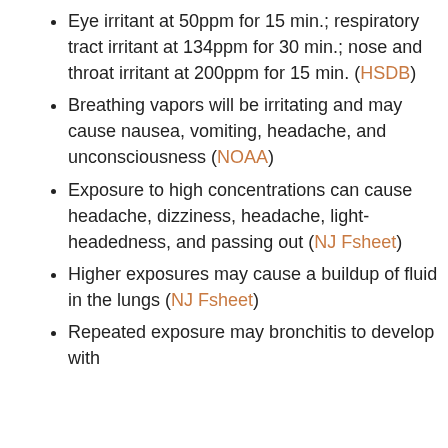Eye irritant at 50ppm for 15 min.; respiratory tract irritant at 134ppm for 30 min.; nose and throat irritant at 200ppm for 15 min. (HSDB)
Breathing vapors will be irritating and may cause nausea, vomiting, headache, and unconsciousness (NOAA)
Exposure to high concentrations can cause headache, dizziness, headache, light-headedness, and passing out (NJ Fsheet)
Higher exposures may cause a buildup of fluid in the lungs (NJ Fsheet)
Repeated exposure may bronchitis to develop with